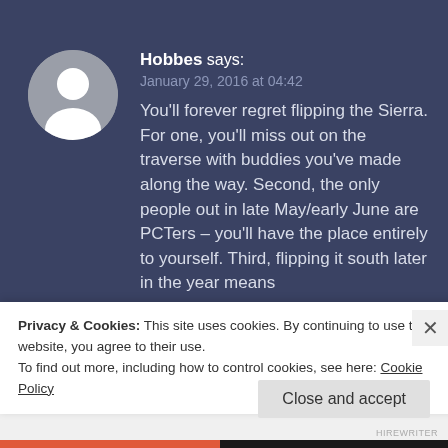[Figure (illustration): Generic user avatar: gray circle with white silhouette of a person]
Hobbes says:
January 29, 2016 at 04:42
You'll forever regret flipping the Sierra. For one, you'll miss out on the traverse with buddies you've made along the way. Second, the only people out in late May/early June are PCTers – you'll have the place entirely to yourself. Third, flipping it south later in the year means
Privacy & Cookies: This site uses cookies. By continuing to use this website, you agree to their use.
To find out more, including how to control cookies, see here: Cookie Policy
Close and accept